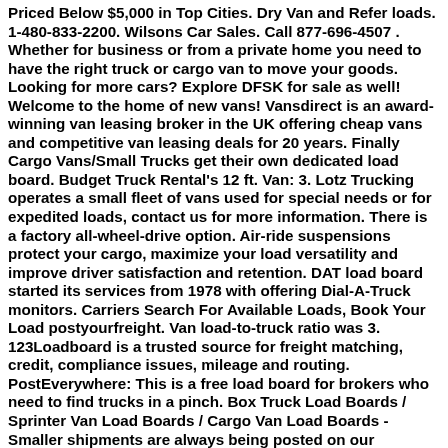Priced Below $5,000 in Top Cities. Dry Van and Refer loads. 1-480-833-2200. Wilsons Car Sales. Call 877-696-4507 . Whether for business or from a private home you need to have the right truck or cargo van to move your goods. Looking for more cars? Explore DFSK for sale as well! Welcome to the home of new vans! Vansdirect is an award-winning van leasing broker in the UK offering cheap vans and competitive van leasing deals for 20 years. Finally Cargo Vans/Small Trucks get their own dedicated load board. Budget Truck Rental's 12 ft. Van: 3. Lotz Trucking operates a small fleet of vans used for special needs or for expedited loads, contact us for more information. There is a factory all-wheel-drive option. Air-ride suspensions protect your cargo, maximize your load versatility and improve driver satisfaction and retention. DAT load board started its services from 1978 with offering Dial-A-Truck monitors. Carriers Search For Available Loads, Book Your Load postyourfreight. Van load-to-truck ratio was 3. 123Loadboard is a trusted source for freight matching, credit, compliance issues, mileage and routing. PostEverywhere: This is a free load board for brokers who need to find trucks in a pinch. Box Truck Load Boards / Sprinter Van Load Boards / Cargo Van Load Boards - Smaller shipments are always being posted on our platform, perfect for drivers of smaller delivery vehicles looking to pick up some extra work. They will prevent the load from falling and help keep the freight stable. Every 60 minutes. Every 15 minutes Every 30 minutes